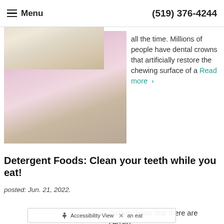Menu   (519) 376-4244
[Figure (photo): Smiling woman in pink/purple top resting chin on hands, wearing bracelet and necklace]
all the time. Millions of people have dental crowns that artificially restore the chewing surface of a Read more >
Detergent Foods: Clean your teeth while you eat!
posted: Jun. 21, 2022.
[Figure (photo): Blonde woman eating or holding food]
Did you know that there are certain